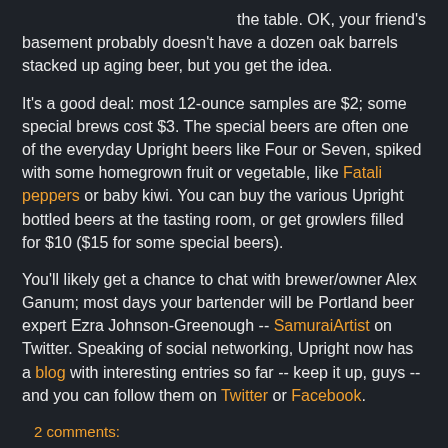the table. OK, your friend's basement probably doesn't have a dozen oak barrels stacked up aging beer, but you get the idea.
It's a good deal: most 12-ounce samples are $2; some special brews cost $3. The special beers are often one of the everyday Upright beers like Four or Seven, spiked with some homegrown fruit or vegetable, like Fatali peppers or baby kiwi. You can buy the various Upright bottled beers at the tasting room, or get growlers filled for $10 ($15 for some special beers).
You'll likely get a chance to chat with brewer/owner Alex Ganum; most days your bartender will be Portland beer expert Ezra Johnson-Greenough -- SamuraiArtist on Twitter. Speaking of social networking, Upright now has a blog with interesting entries so far -- keep it up, guys -- and you can follow them on Twitter or Facebook.
2 comments: